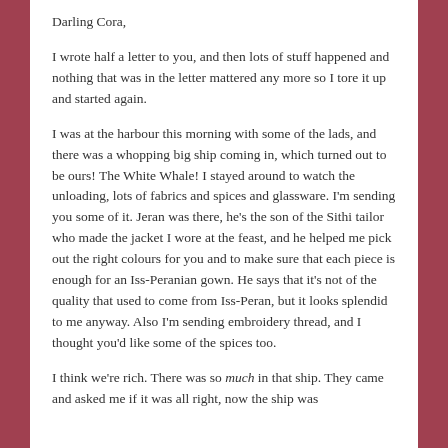Darling Cora,
I wrote half a letter to you, and then lots of stuff happened and nothing that was in the letter mattered any more so I tore it up and started again.
I was at the harbour this morning with some of the lads, and there was a whopping big ship coming in, which turned out to be ours! The White Whale! I stayed around to watch the unloading, lots of fabrics and spices and glassware. I'm sending you some of it. Jeran was there, he's the son of the Sithi tailor who made the jacket I wore at the feast, and he helped me pick out the right colours for you and to make sure that each piece is enough for an Iss-Peranian gown. He says that it's not of the quality that used to come from Iss-Peran, but it looks splendid to me anyway. Also I'm sending embroidery thread, and I thought you'd like some of the spices too.
I think we're rich. There was so much in that ship. They came and asked me if it was all right, now the ship was...